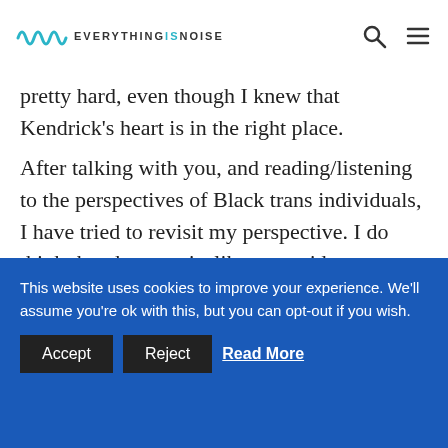EVERYTHING IS NOISE
pretty hard, even though I knew that Kendrick's heart is in the right place.

After talking with you, and reading/listening to the perspectives of Black trans individuals, I have tried to revisit my perspective. I do think that the song is, like you said, a representation of the inner conflict
This website uses cookies to improve your experience. We'll assume you're ok with this, but you can opt-out if you wish. Accept Reject Read More